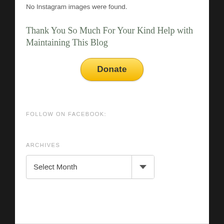No Instagram images were found.
Thank You So Much For Your Kind Help with Maintaining This Blog
[Figure (other): PayPal Donate button, yellow rounded rectangle with bold text 'Donate']
FOLLOW ON FACEBOOK:
ARCHIVES
Select Month